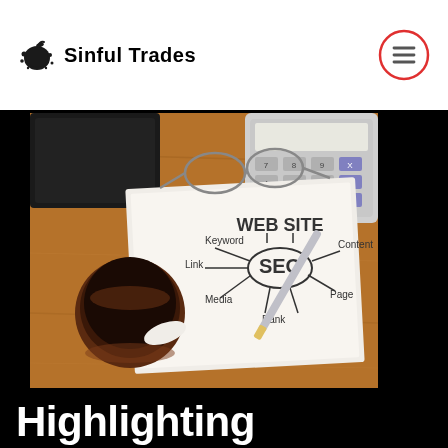Sinful Trades
[Figure (photo): Desk scene with SEO mind-map on paper, coffee cup, glasses, calculator, wallet, and pen on wooden table. Mind-map shows 'WEB SITE' at top leading to 'SEO' in center, with branches labeled Keyword, Link, Media, Rank, Page, Content.]
Highlighting importance of SEO to a business